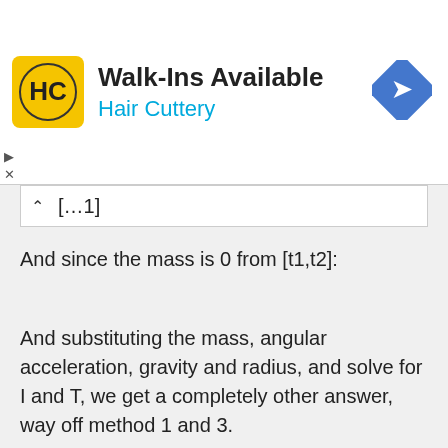[Figure (other): Hair Cuttery advertisement banner with logo, Walk-Ins Available headline, and a blue diamond navigation icon]
[…1]
And since the mass is 0 from [t1,t2]:
And substituting the mass, angular acceleration, gravity and radius, and solve for I and T, we get a completely other answer, way off method 1 and 3.
I for Method 1 ≈ 0,31
I for Method 2 ≈ 4,2